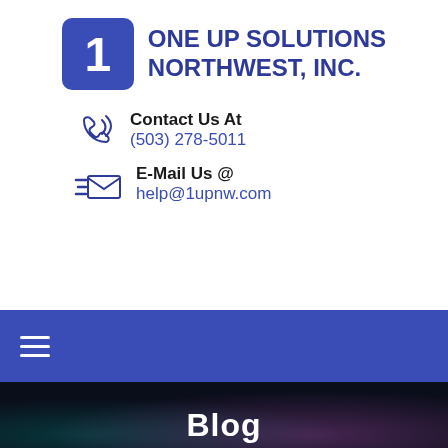[Figure (logo): One Up Solutions Northwest Inc. logo with blue rounded square containing number 1 and blue text name]
Contact Us At
(503) 278-5011
E-Mail Us @
help@1upnw.com
[Figure (other): Blue navigation bar with hamburger menu icon]
Blog